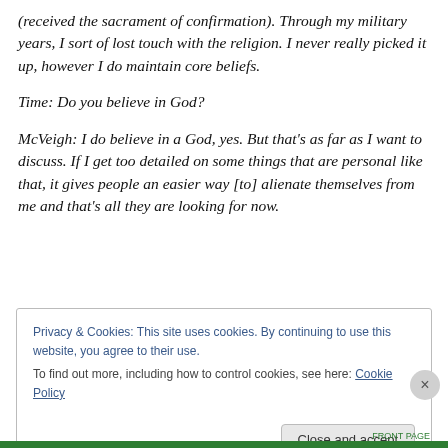(received the sacrament of confirmation). Through my military years, I sort of lost touch with the religion. I never really picked it up, however I do maintain core beliefs.
Time: Do you believe in God?
McVeigh: I do believe in a God, yes. But that's as far as I want to discuss. If I get too detailed on some things that are personal like that, it gives people an easier way [to] alienate themselves from me and that's all they are looking for now.
Privacy & Cookies: This site uses cookies. By continuing to use this website, you agree to their use. To find out more, including how to control cookies, see here: Cookie Policy
Close and accept
FRONT PAGE